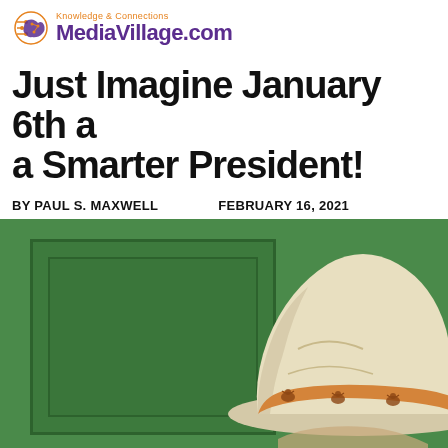Knowledge & Connections MediaVillage.com
Just Imagine January 6th a a Smarter President!
BY PAUL S. MAXWELL   FEBRUARY 16, 2021
[Figure (photo): Photo showing a white/cream cowboy hat in front of a green painted wall with door panels, with a decorative band featuring buffalo/bison motifs on the hat]